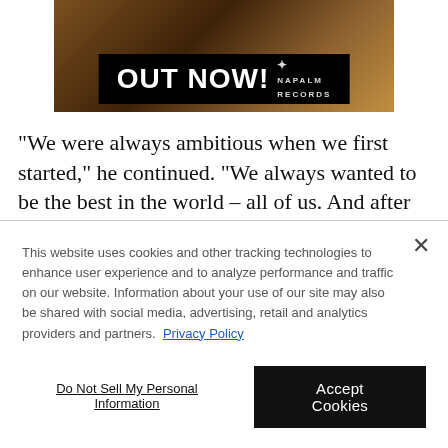[Figure (illustration): A promotional banner with horses in a painted style, black bar reading 'OUT NOW!' with a small logo at right]
"We were always ambitious when we first started," he continued. "We always wanted to be the best in the world – all of us. And after me, Bon Scott got his chance. He did great with the band. And when he died, I just thought, 'Who are
This website uses cookies and other tracking technologies to enhance user experience and to analyze performance and traffic on our website. Information about your use of our site may also be shared with social media, advertising, retail and analytics providers and partners. Privacy Policy
Do Not Sell My Personal Information
Accept Cookies